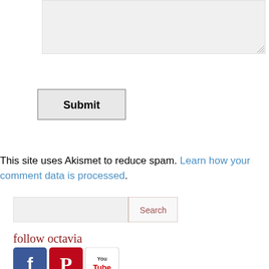[Figure (screenshot): Textarea input box with resize handle in bottom right corner]
[Figure (screenshot): Submit button with bold text]
This site uses Akismet to reduce spam. Learn how your comment data is processed.
[Figure (screenshot): Search input field with Search button]
follow octavia
[Figure (screenshot): Social media icons: Facebook, Pinterest, YouTube]
share octavia.net with your friends and followers
[Figure (screenshot): Share social icons: Facebook, Twitter, Reddit, Pinterest, LinkedIn, Tumblr]